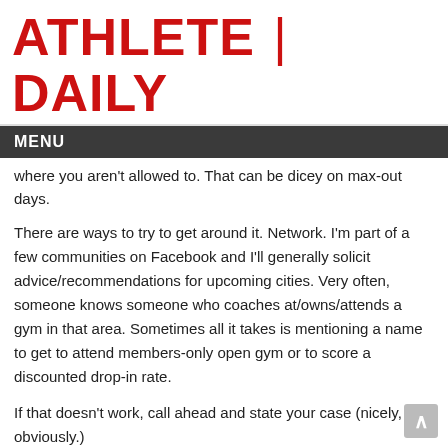ATHLETE | DAILY
MENU
where you aren't allowed to. That can be dicey on max-out days.
There are ways to try to get around it. Network. I'm part of a few communities on Facebook and I'll generally solicit advice/recommendations for upcoming cities. Very often, someone knows someone who coaches at/owns/attends a gym in that area. Sometimes all it takes is mentioning a name to get to attend members-only open gym or to score a discounted drop-in rate.
If that doesn't work, call ahead and state your case (nicely, obviously.)
PRIORITIZE.
I don't remember the last time I didn't wear gym clothes on the airplane. First, it's comfortable. But more importantly you have to eliminate excuses whenever you can. Travel delays or unexpected traffic has taken away my plans for a hotel nap or lunch with a friend